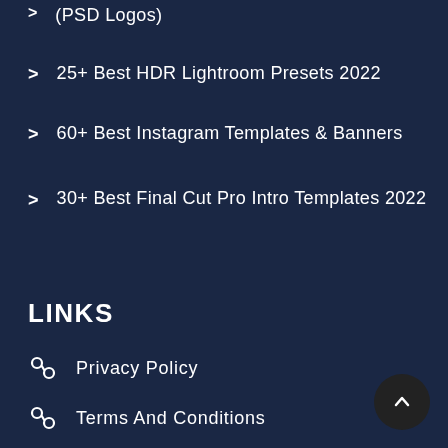(PSD Logos)
25+ Best HDR Lightroom Presets 2022
60+ Best Instagram Templates & Banners
30+ Best Final Cut Pro Intro Templates 2022
LINKS
Privacy Policy
Terms And Conditions